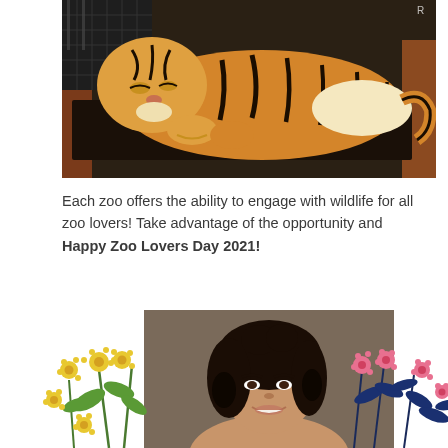[Figure (photo): A tiger lying on a raised platform in a zoo enclosure, resting with eyes partially closed, orange fur with black stripes visible, metal grating and brick walls in background]
Each zoo offers the ability to engage with wildlife for all zoo lovers! Take advantage of the opportunity and Happy Zoo Lovers Day 2021!
[Figure (photo): A woman with curly dark hair smiling, surrounded by illustrated yellow flowers on the left and pink/navy floral illustrations on the right]